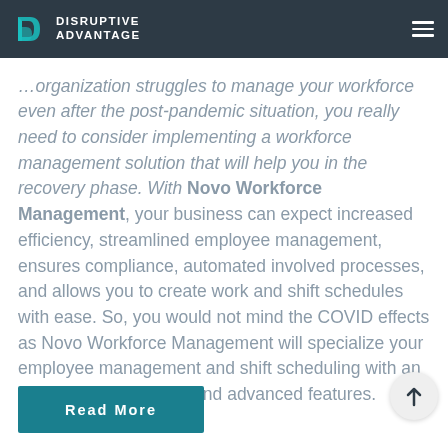Disruptive Advantage
…organization struggles to manage your workforce even after the post-pandemic situation, you really need to consider implementing a workforce management solution that will help you in the recovery phase. With Novo Workforce Management, your business can expect increased efficiency, streamlined employee management, ensures compliance, automated involved processes, and allows you to create work and shift schedules with ease. So, you would not mind the COVID effects as Novo Workforce Management will specialize your employee management and shift scheduling with an intuitive user interface and advanced features.
Read More